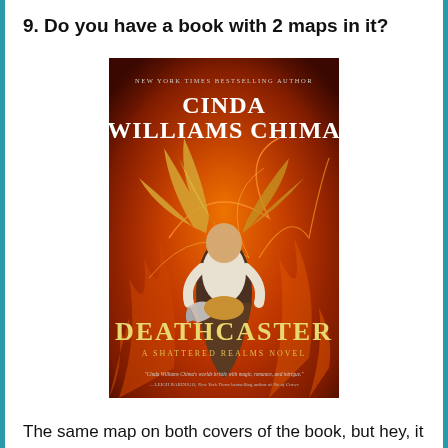9. Do you have a book with 2 maps in it?
[Figure (photo): Book cover of 'Deathcaster: A Shattered Realms Novel' by Cinda Williams Chima. Features a blonde woman in fantasy attire holding a curved blade against a fiery orange background. Text at top reads 'New York Times Bestselling Author'. Quote at bottom reads: 'Cinda Williams Chima's worlds bristle with magic, romance, and intrigue.' —LEIGH BARDUGO, New York Times bestselling author of Six of Crows]
The same map on both covers of the book, but hey, it